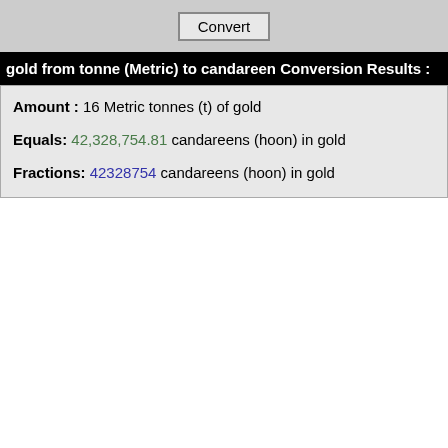gold from tonne (Metric) to candareen Conversion Results :
Amount : 16 Metric tonnes (t) of gold
Equals: 42,328,754.81 candareens (hoon) in gold
Fractions: 42328754 candareens (hoon) in gold